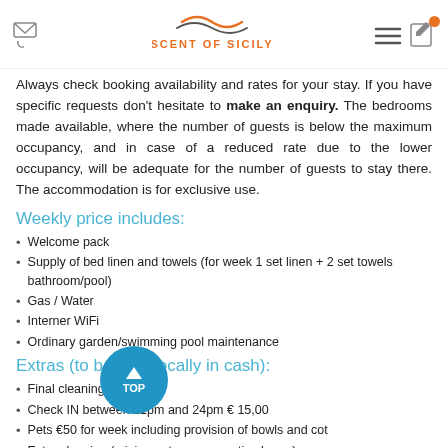Scent of Sicily
Always check booking availability and rates for your stay. If you have specific requests don't hesitate to make an enquiry. The bedrooms made available, where the number of guests is below the maximum occupancy, and in case of a reduced rate due to the lower occupancy, will be adequate for the number of guests to stay there. The accommodation is for exclusive use.
Weekly price includes:
Welcome pack
Supply of bed linen and towels (for week 1 set linen + 2 set towels bathroom/pool)
Gas / Water
Interner WiFi
Ordinary garden/swimming pool maintenance
Extras (to be paid locally in cash):
Final cleaning € 130,00
Check IN between 21pm and 24pm € 15,00
Pets €50 for week including provision of bowls and cot
Extra cleaning (minimum two consecutive hours)
Tourist tax